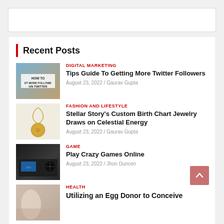Recent Posts
[Figure (photo): Phone screen showing 'HOW TO GET MORE FOLLOWERS ON TWITTER' text overlay]
DIGITAL MARKETING
Tips Guide To Getting More Twitter Followers
August 23, 2022 / Gaurav Gupta
[Figure (photo): Gold coin pendant necklace on white background]
FASHION AND LIFESTYLE
Stellar Story's Custom Birth Chart Jewelry Draws on Celestial Energy
August 23, 2022 / Gaurav Gupta
[Figure (photo): Car interior dashboard with screen]
GAME
Play Crazy Games Online
August 23, 2022 / Jhon Duncen
[Figure (photo): Health related image - partial view]
HEALTH
Utilizing an Egg Donor to Conceive